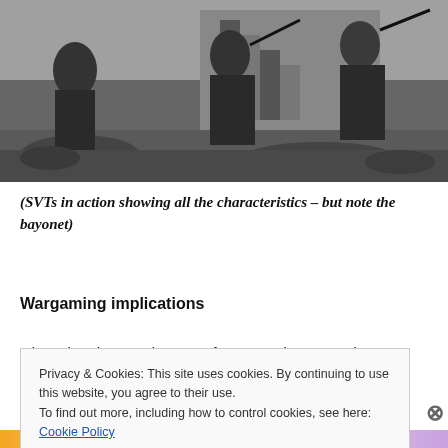[Figure (photo): Black and white photograph of soldiers with rifles in action, moving over rubble and steps outdoors.]
(SVTs in action showing all the characteristics – but note the bayonet)
Wargaming implications
Given that the Russian use of SLRs and SMGs at low
Privacy & Cookies: This site uses cookies. By continuing to use this website, you agree to their use.
To find out more, including how to control cookies, see here: Cookie Policy
Close and accept